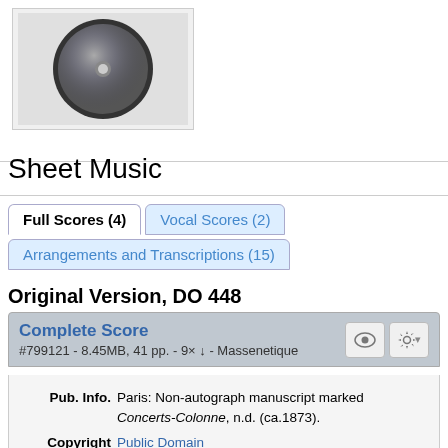[Figure (photo): CD/disc image thumbnail in a white bordered box]
Sheet Music
Full Scores (4)  |  Vocal Scores (2)  |  Arrangements and Transcriptions (15)
Original Version, DO 448
Complete Score
#799121 - 8.45MB, 41 pp. - 9× ↓ - Massenetique
| Field | Value |
| --- | --- |
| Pub. Info. | Paris: Non-autograph manuscript marked Concerts-Colonne, n.d. (ca.1873). |
| Copyright | Public Domain |
| Misc. Notes | This file is based on high-resolution images obtained from BNF using a method explained on this page. Converted to monochrome, cropped, de-skewed and optimized. |